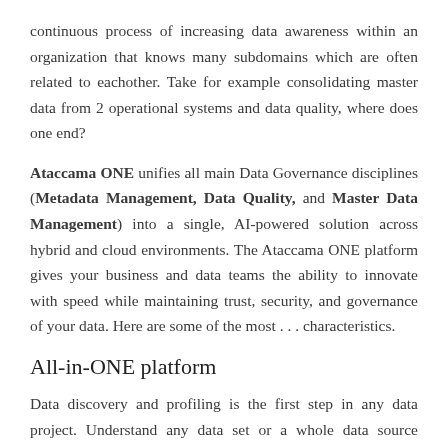continuous process of increasing data awareness within an organization that knows many subdomains which are often related to eachother. Take for example consolidating master data from 2 operational systems and data quality, where does one end?
Ataccama ONE unifies all main Data Governance disciplines (Metadata Management, Data Quality, and Master Data Management) into a single, AI-powered solution across hybrid and cloud environments. The Ataccama ONE platform gives your business and data teams the ability to innovate with speed while maintaining trust, security, and governance of your data. Here are some of the most . . . characteristics.
All-in-ONE platform
Data discovery and profiling is the first step in any data project. Understand any data set or a whole data source through automated Data Profiling and discover paths to